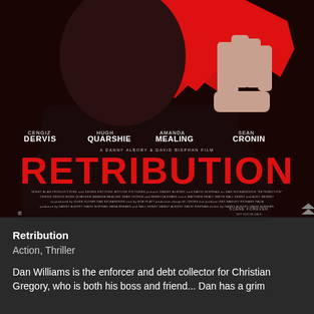[Figure (photo): Movie poster for 'Retribution' (1987) showing a dark figure with hands clasped against a large red shape background. Cast names listed: Cengiz Dervis, Hugh Quarshie, Amanda Mealing, Sean Cronin. Large red bold title 'RETRIBUTION' across center. Credits text at bottom on black background.]
Retribution
Action, Thriller
Dan Williams is the enforcer and debt collector for Christian Gregory, who is both his boss and friend... Dan has a grim